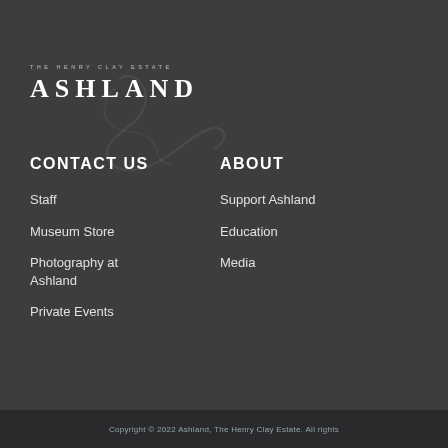[Figure (logo): The Henry Clay Estate Ashland logo with stylized script lettering and uppercase ASHLAND text]
CONTACT US
Staff
Museum Store
Photography at Ashland
Private Events
ABOUT
Support Ashland
Education
Media
Copyright © 2022 Ashland, The Henry Clay Estate. All rights